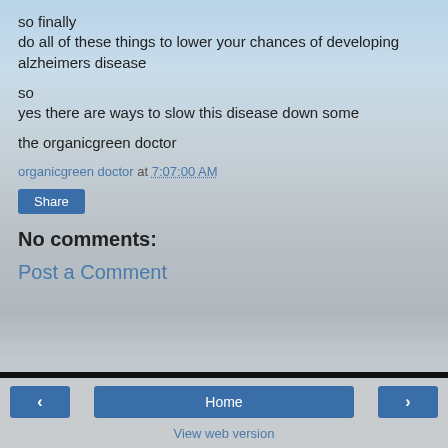so finally
do all of these things to lower your chances of developing alzheimers disease
so
yes there are ways to slow this disease down some
the organicgreen doctor
organicgreen doctor at 7:07:00 AM
Share
No comments:
Post a Comment
Home | View web version